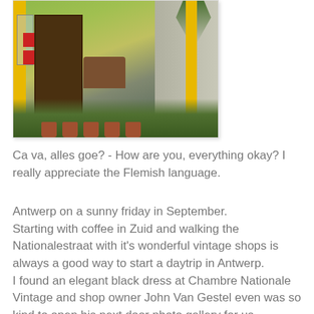[Figure (photo): Photo of a yellow-painted vintage shop storefront with potted plants and a wooden bench, vines on the adjacent wall.]
Ca va, alles goe? - How are you, everything okay? I really appreciate the Flemish language.
Antwerp on a sunny friday in September.
Starting with coffee in Zuid and walking the Nationalestraat with it's wonderful vintage shops is always a good way to start a daytrip in Antwerp.
I found an elegant black dress at Chambre Nationale Vintage and shop owner John Van Gestel even was so kind to open his next door photo gallery for us.
We settled on a terrace several times, because of the beautiful weather.